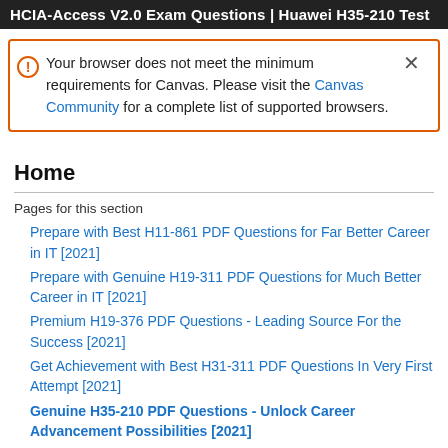HCIA-Access V2.0 Exam Questions | Huawei H35-210 Test
Your browser does not meet the minimum requirements for Canvas. Please visit the Canvas Community for a complete list of supported browsers.
Home
Pages for this section
Prepare with Best H11-861 PDF Questions for Far Better Career in IT [2021]
Prepare with Genuine H19-311 PDF Questions for Much Better Career in IT [2021]
Premium H19-376 PDF Questions - Leading Source For the Success [2021]
Get Achievement with Best H31-311 PDF Questions In Very First Attempt [2021]
Genuine H35-210 PDF Questions - Unlock Career Advancement Possibilities [2021]